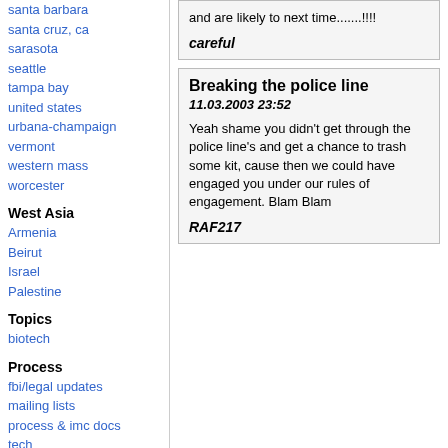santa barbara
santa cruz, ca
sarasota
seattle
tampa bay
united states
urbana-champaign
vermont
western mass
worcester
West Asia
Armenia
Beirut
Israel
Palestine
Topics
biotech
Process
fbi/legal updates
mailing lists
process & imc docs
tech
and are likely to next time.......!!!!
careful
Breaking the police line
11.03.2003 23:52
Yeah shame you didn't get through the police line's and get a chance to trash some kit, cause then we could have engaged you under our rules of engagement. Blam Blam
RAF217